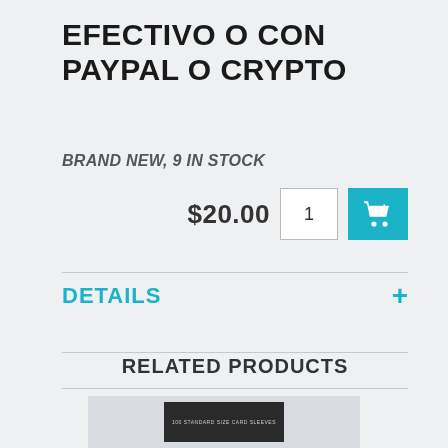EFECTIVO O CON PAYPAL O CRYPTO
BRAND NEW, 9 IN STOCK
$20.00
DETAILS
RELATED PRODUCTS
[Figure (photo): Product thumbnail image of card sleeves box at bottom of page]